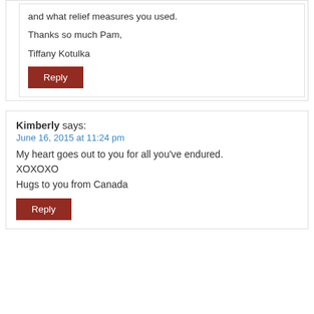and what relief measures you used.
Thanks so much Pam,
Tiffany Kotulka
Reply
Kimberly says:
June 16, 2015 at 11:24 pm
My heart goes out to you for all you've endured. XOXOXO
Hugs to you from Canada
Reply